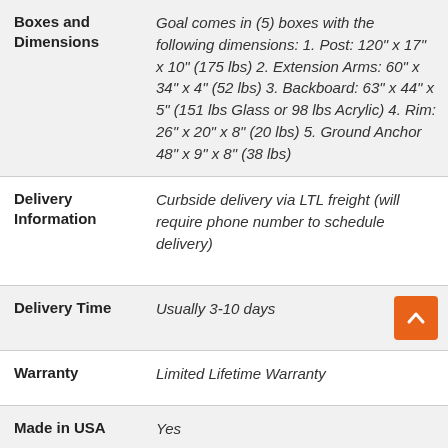| Field | Value |
| --- | --- |
| Boxes and Dimensions | Goal comes in (5) boxes with the following dimensions: 1. Post: 120" x 17" x 10" (175 lbs) 2. Extension Arms: 60" x 34" x 4" (52 lbs) 3. Backboard: 63" x 44" x 5" (151 lbs Glass or 98 lbs Acrylic) 4. Rim: 26" x 20" x 8" (20 lbs) 5. Ground Anchor 48" x 9" x 8" (38 lbs) |
| Delivery Information | Curbside delivery via LTL freight (will require phone number to schedule delivery) |
| Delivery Time | Usually 3-10 days |
| Warranty | Limited Lifetime Warranty |
| Made in USA | Yes |